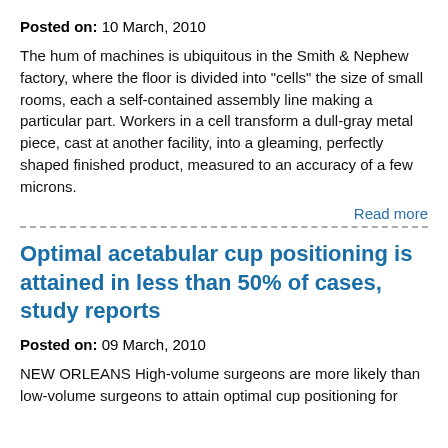Posted on: 10 March, 2010
The hum of machines is ubiquitous in the Smith & Nephew factory, where the floor is divided into "cells" the size of small rooms, each a self-contained assembly line making a particular part. Workers in a cell transform a dull-gray metal piece, cast at another facility, into a gleaming, perfectly shaped finished product, measured to an accuracy of a few microns.
Read more
Optimal acetabular cup positioning is attained in less than 50% of cases, study reports
Posted on: 09 March, 2010
NEW ORLEANS High-volume surgeons are more likely than low-volume surgeons to attain optimal cup positioning for